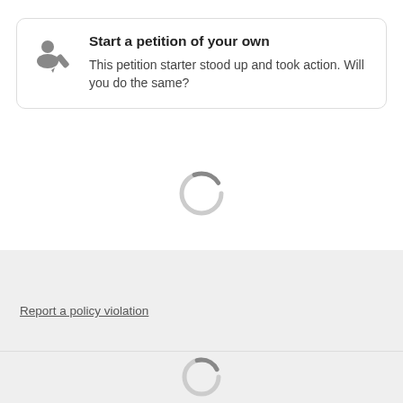[Figure (illustration): Card with pen/edit icon and call-to-action to start a petition]
Start a petition of your own
This petition starter stood up and took action. Will you do the same?
[Figure (other): Loading spinner graphic in gray section]
Report a policy violation
[Figure (other): Loading spinner graphic at bottom of page]